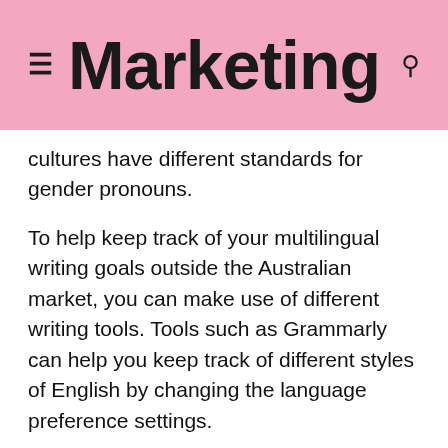Marketing
cultures have different standards for gender pronouns.
To help keep track of your multilingual writing goals outside the Australian market, you can make use of different writing tools. Tools such as Grammarly can help you keep track of different styles of English by changing the language preference settings.
Other tools, such as Evernote and Trello, can help you organize ideas and keep notes. That can be a big help when you’re working to keep certain style guidelines in mind for global audiences.